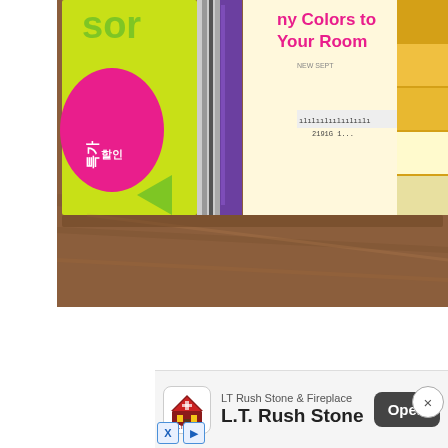[Figure (photo): Photo showing several books or booklets stacked on a wooden surface. Visible text includes partial words: 'sor', Korean characters, 'ny Colors to Your Room' in pink text, yellow and white striped cover, a purple item, and what appears to be a barcode or label.]
[Figure (screenshot): Mobile advertisement banner at the bottom of the screen for 'LT Rush Stone & Fireplace' / 'L.T. Rush Stone Inc' with an Open button (dark gray), a close X button (circle), the company logo, and ad network icons (X and triangle) at bottom left.]